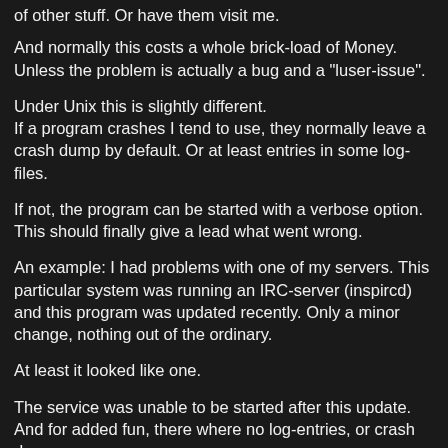of other stuff. Or have them visit me.
And normally this costs a whole brick-load of Money. Unless the problem is actually a bug and a "luser-issue".
Under Unix this is slightly different.
If a program crashes I tend to use, they normally leave a crash dump by default. Or at least entries in some log-files.
If not, the program can be started with a verbose option. This should finally give a lead what went wrong.
An example: I had problems with one of my servers. This particular system was running an IRC-server (inspircd) and this program was updated recently. Only a minor change, nothing out of the ordinary.
At least it looked like one.
The service was unable to be started after this update. And for added fun, there where no log-entries, or crash dumps.